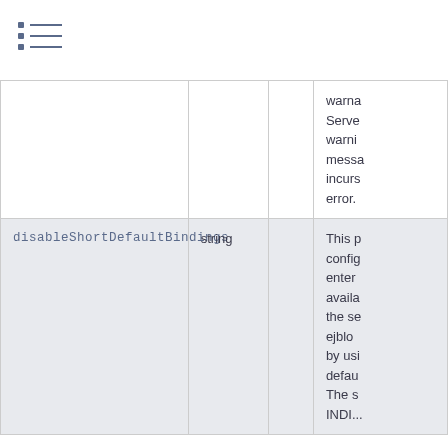navigation icon
| Property | Type |  | Description |
| --- | --- | --- | --- |
|  |  |  | Server warning message incurs error. |
| disableShortDefaultBindings | string |  | This p config enter availa the se ejblo by usi defau The s INDI... |